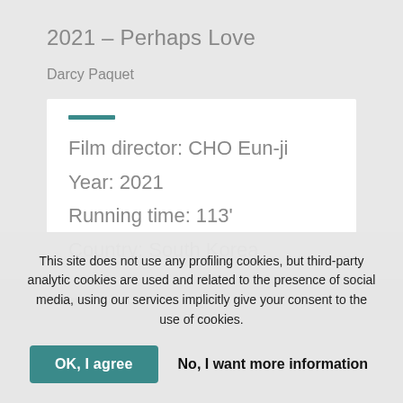2021 – Perhaps Love
Darcy Paquet
Film director: CHO Eun-ji
Year: 2021
Running time: 113'
Country: South Korea
This site does not use any profiling cookies, but third-party analytic cookies are used and related to the presence of social media, using our services implicitly give your consent to the use of cookies.
OK, I agree
No, I want more information